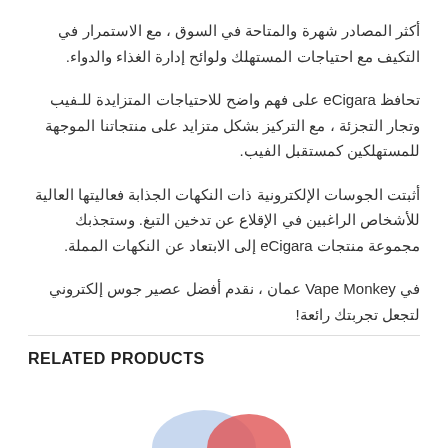أكثر المصادر شهرة والمتاحة في السوق ، مع الاستمرار في التكيف مع احتياجات المستهلك ولوائح إدارة الغذاء والدواء.
تحافظ eCigara على فهم واضح للاحتياجات المتزايدة للفيب وتجار التجزئة ، مع التركيز بشكل متزايد على منتجاتنا الموجهة للمستهلكين كمستقبل الفيب.
أثبتت الجوسات الإلكترونية ذات النكهات الجذابة فعاليتها العالية للأشخاص الراغبين في الإقلاع عن تدخين التبغ. وستجذبك مجموعة منتجات eCigara إلى الابتعاد عن النكهات المملة.
في Vape Monkey عمان ، نقدم أفضل عصير جوس إلكتروني لتجعل تجربتك رائعة!
RELATED PRODUCTS
[Figure (photo): Partial product image at bottom of page]